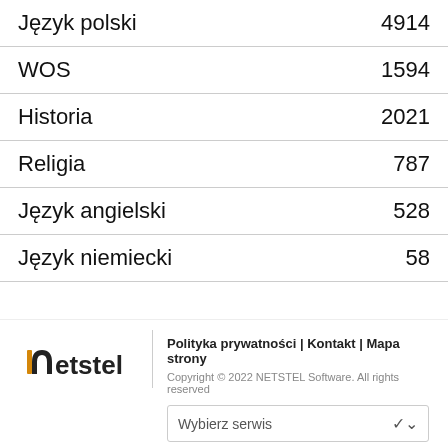| Subject | Value |
| --- | --- |
| Język polski | 4914 |
| WOS | 1594 |
| Historia | 2021 |
| Religia | 787 |
| Język angielski | 528 |
| Język niemiecki | 58 |
[Figure (logo): Netstel logo with stylized 'n' in orange/gold and 'etstel' in dark gray]
Polityka prywatności | Kontakt | Mapa strony
Copyright © 2022 NETSTEL Software. All rights reserved
Wybierz serwis